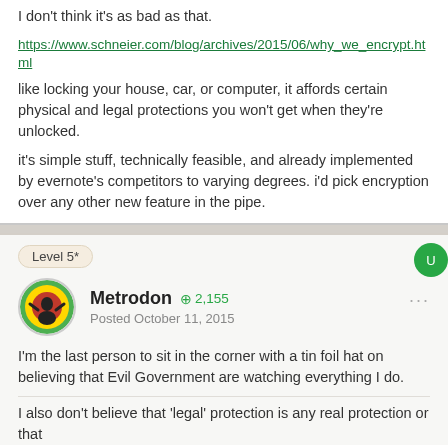I don't think it's as bad as that.
https://www.schneier.com/blog/archives/2015/06/why_we_encrypt.html
like locking your house, car, or computer, it affords certain physical and legal protections you won't get when they're unlocked.
it's simple stuff, technically feasible, and already implemented by evernote's competitors to varying degrees. i'd pick encryption over any other new feature in the pipe.
Level 5*
Metrodon  +2,155
Posted October 11, 2015
I'm the last person to sit in the corner with a tin foil hat on believing that Evil Government are watching everything I do.
I also don't believe that 'legal' protection is any real protection or that